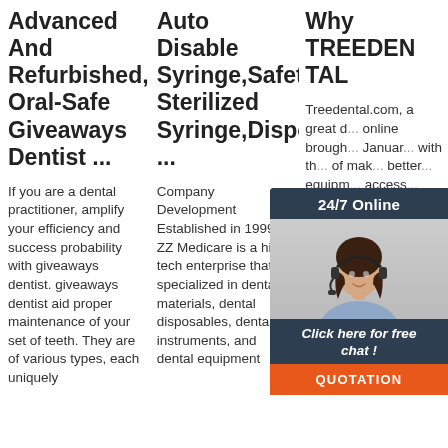Advanced And Refurbished, Oral-Safe Giveaways Dentist ...
If you are a dental practitioner, amplify your efficiency and success probability with giveaways dentist. giveaways dentist aid proper maintenance of your set of teeth. They are of various types, each uniquely
Auto Disable Syringe,Safety Sterilized Syringe,Disposable ...
Company Development Established in 1999, ZZ Medicare is a high-tech enterprise that specialized in dental materials, dental disposables, dental instruments, and dental equipment
Why TREEDEN TAL
Treedental.com, a great d... online brough... Januar... with th... of mak... better ... equipm... access... afforda... more d... professional all over the world. Our mission was deeply rooted in product quality, fast efficient service and
[Figure (other): 24/7 Online chat widget with a customer service agent photo, 'Click here for free chat!' text, and an orange QUOTATION button]